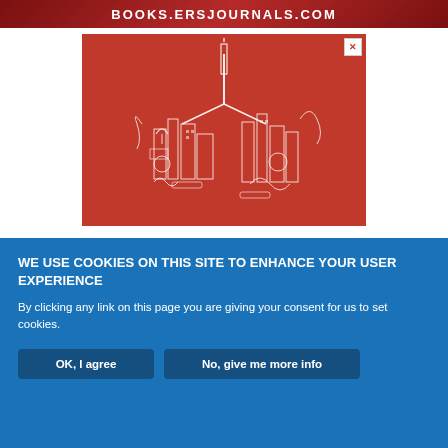BOOKS.ERSJOURNALS.COM
[Figure (illustration): Red background advertisement with white line-art illustration of lungs made up of city buildings and architectural elements, for ERS Journals books. Small X close button in top-right corner.]
WE USE COOKIES ON THIS SITE TO ENHANCE YOUR USER EXPERIENCE
By clicking any link on this page you are giving your consent for us to set cookies.
OK, I agree | No, give me more info